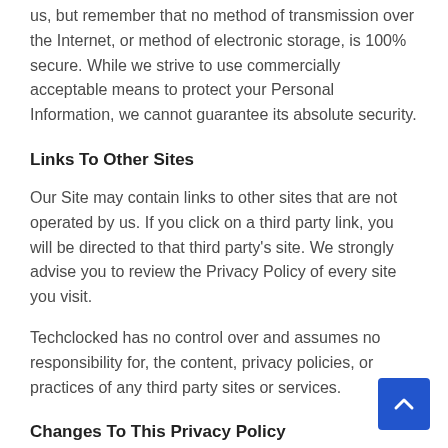us, but remember that no method of transmission over the Internet, or method of electronic storage, is 100% secure. While we strive to use commercially acceptable means to protect your Personal Information, we cannot guarantee its absolute security.
Links To Other Sites
Our Site may contain links to other sites that are not operated by us. If you click on a third party link, you will be directed to that third party's site. We strongly advise you to review the Privacy Policy of every site you visit.
Techclocked has no control over and assumes no responsibility for, the content, privacy policies, or practices of any third party sites or services.
Changes To This Privacy Policy
Techclocked may update this Privacy Policy from time to time.